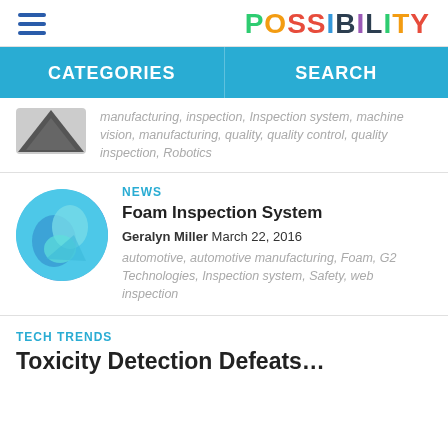POSSIBILITY
CATEGORIES | SEARCH
manufacturing, inspection, inspection system, machine vision, manufacturing, quality, quality control, quality inspection, Robotics
NEWS
Foam Inspection System
Geralyn Miller March 22, 2016
automotive, automotive manufacturing, Foam, G2 Technologies, Inspection system, Safety, web inspection
TECH TRENDS
Toxicity Detection Defeats...